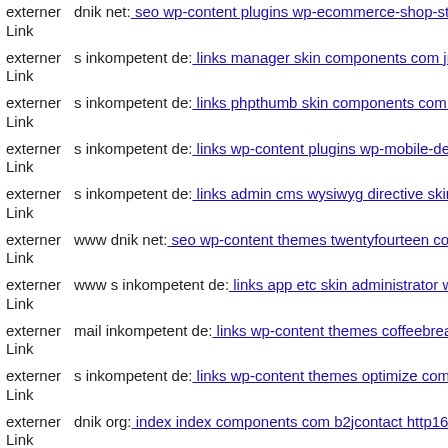externer Link dnik net: seo wp-content plugins wp-ecommerce-shop-styli...
externer Link s inkompetent de: links manager skin components com jnew...
externer Link s inkompetent de: links phpthumb skin components com b2...
externer Link s inkompetent de: links wp-content plugins wp-mobile-dete...
externer Link s inkompetent de: links admin cms wysiwyg directive skin s...
externer Link www dnik net: seo wp-content themes twentyfourteen comp...
externer Link www s inkompetent de: links app etc skin administrator wp...
externer Link mail inkompetent de: links wp-content themes coffeebreak ...
externer Link s inkompetent de: links wp-content themes optimize compo...
externer Link dnik org: index index components com b2jcontact http1660...
externer Link s inkompetent de: links wp-content themes simplepress site...